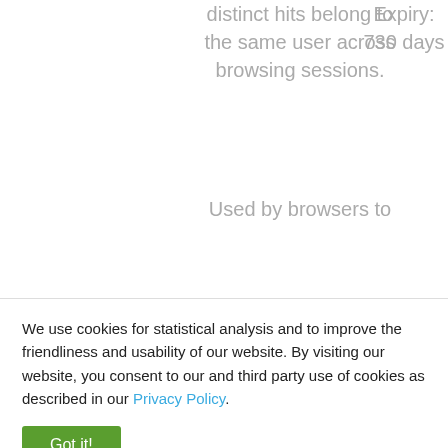distinct hits belong to the same user across browsing sessions.
Expiry: 730 days
Used by browsers to
We use cookies for statistical analysis and to improve the friendliness and usability of our website. By visiting our website, you consent to our and third party use of cookies as described in our Privacy Policy.